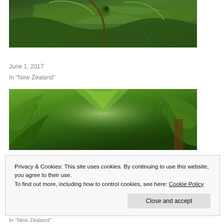[Figure (photo): Close-up photograph of fern fronds unfurling, green foliage, bokeh background]
A place called home
June 1, 2017
In "New Zealand"
[Figure (photo): Looking up through a lush green fern and palm tree canopy in a forest]
Privacy & Cookies: This site uses cookies. By continuing to use this website, you agree to their use.
To find out more, including how to control cookies, see here: Cookie Policy
Close and accept
In "New Zealand"